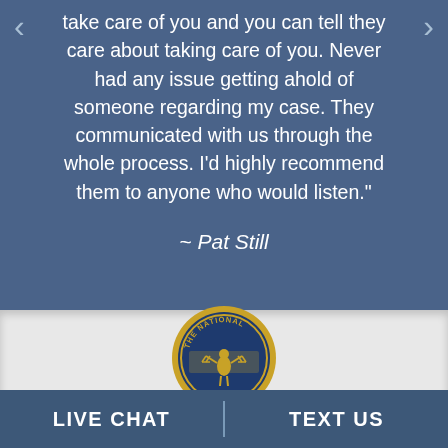take care of you and you can tell they care about taking care of you. Never had any issue getting ahold of someone regarding my case. They communicated with us through the whole process. I'd highly recommend them to anyone who would listen."
~ Pat Still
[Figure (logo): The National law firm circular seal/logo with gold border and figure holding scales of justice]
LIVE CHAT
TEXT US